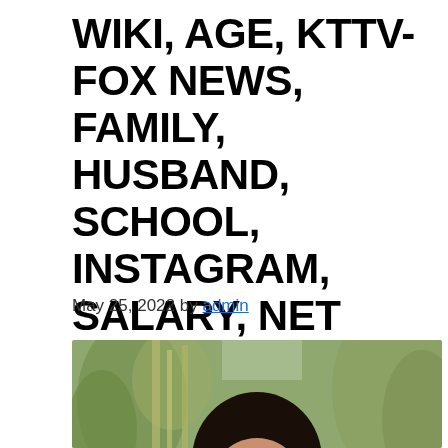WIKI, AGE, KTTV-FOX NEWS, FAMILY, HUSBAND, SCHOOL, INSTAGRAM, SALARY, NET WORTH, CAREER
May 25, 2022 by admin
[Figure (photo): Portrait photo of a young Asian woman with long dark hair, smiling, outdoors with blurred greenery in the background]